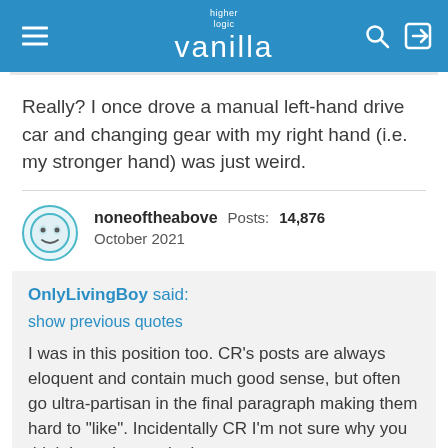higher logic vanilla
Really? I once drove a manual left-hand drive car and changing gear with my right hand (i.e. my stronger hand) was just weird.
noneoftheabove  Posts: 14,876
October 2021
OnlyLivingBoy said:
show previous quotes
I was in this position too. CR's posts are always eloquent and contain much good sense, but often go ultra-partisan in the final paragraph making them hard to "like". Incidentally CR I'm not sure why you think I need to apologise to you so